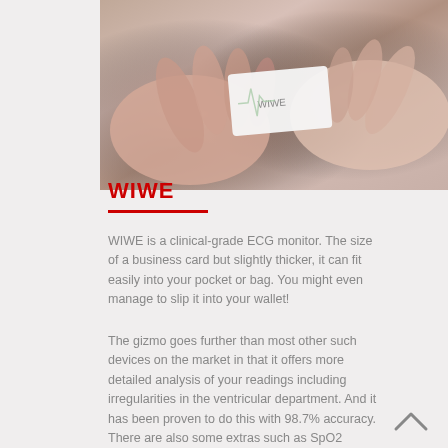[Figure (photo): Hands holding a small white card-sized WIWE ECG monitor device]
WIWE
WIWE is a clinical-grade ECG monitor. The size of a business card but slightly thicker, it can fit easily into your pocket or bag. You might even manage to slip it into your wallet!
The gizmo goes further than most other such devices on the market in that it offers more detailed analysis of your readings including irregularities in the ventricular department. And it has been proven to do this with 98.7% accuracy. There are also some extras such as SpO2 measurements and the ability to count steps.